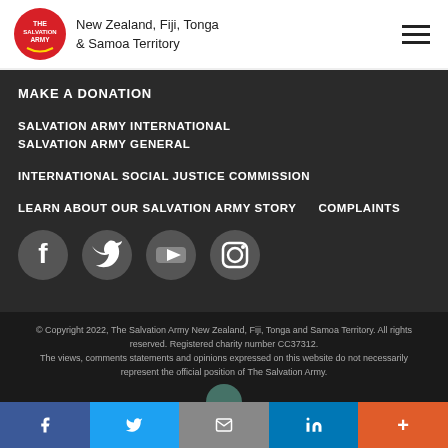New Zealand, Fiji, Tonga & Samoa Territory
MAKE A DONATION
SALVATION ARMY INTERNATIONAL
SALVATION ARMY GENERAL
INTERNATIONAL SOCIAL JUSTICE COMMISSION
LEARN ABOUT OUR SALVATION ARMY STORY
COMPLAINTS
[Figure (infographic): Social media icons: Facebook, Twitter, YouTube, Instagram]
© Copyright 2022, The Salvation Army New Zealand, Fiji, Tonga and Samoa Territory. All rights reserved. Registered charity number CC37312. The views, comments statements and opinions expressed on this website do not necessarily represent the official position of The Salvation Army.